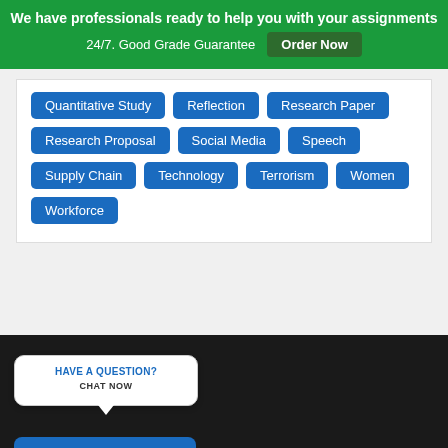We have professionals ready to help you with your assignments 24/7. Good Grade Guarantee
Order Now
Quantitative Study
Reflection
Research Paper
Research Proposal
Social Media
Speech
Supply Chain
Technology
Terrorism
Women
Workforce
HAVE A QUESTION? CHAT NOW
Chat now ×